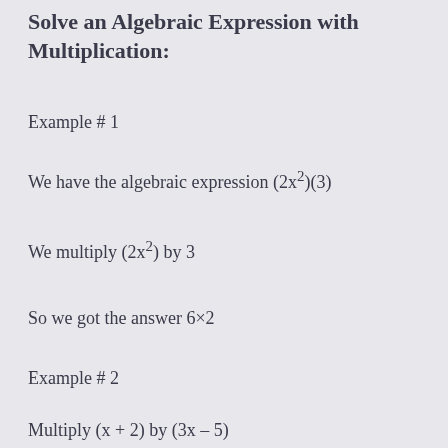Solve an Algebraic Expression with Multiplication:
Example # 1
We have the algebraic expression (2x²)(3)
We multiply (2x²) by 3
So we got the answer 6×2
Example # 2
Multiply (x + 2) by (3x – 5)